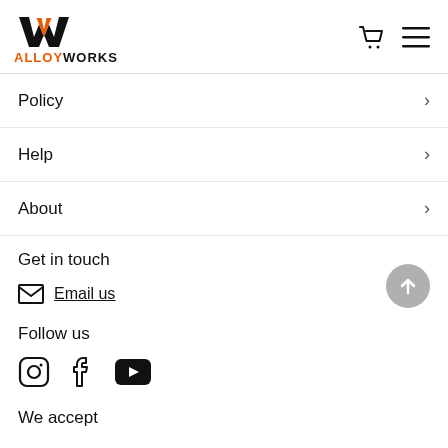ALLOYWORKS
Policy
Help
About
Get in touch
Email us
Follow us
Social icons: Instagram, Facebook, YouTube
We accept